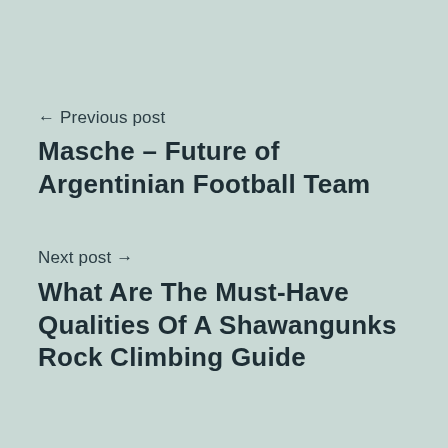← Previous post
Masche – Future of Argentinian Football Team
Next post →
What Are The Must-Have Qualities Of A Shawangunks Rock Climbing Guide